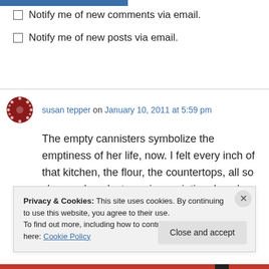Notify me of new comments via email.
Notify me of new posts via email.
susan tepper on January 10, 2011 at 5:59 pm
The empty cannisters symbolize the emptiness of her life, now. I felt every inch of that kitchen, the flour, the countertops, all so clear and so dusty, as in a painting. Lovely story
Privacy & Cookies: This site uses cookies. By continuing to use this website, you agree to their use. To find out more, including how to control cookies, see here: Cookie Policy